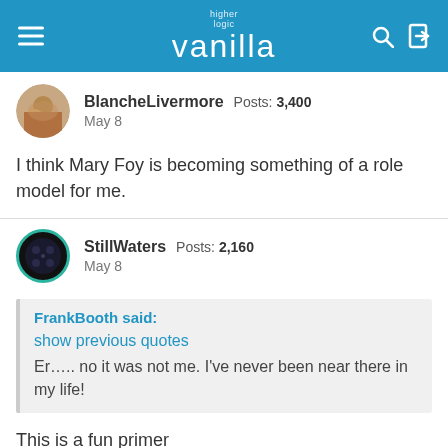higher logic vanilla
[Figure (photo): Avatar photo of BlancheLivermore]
BlancheLivermore  Posts: 3,400
May 8
I think Mary Foy is becoming something of a role model for me.
[Figure (illustration): Avatar icon of StillWaters with teal circle border]
StillWaters  Posts: 2,160
May 8
FrankBooth said:
show previous quotes
Er..... no it was not me. I've never been near there in my life!
This is a fun primer